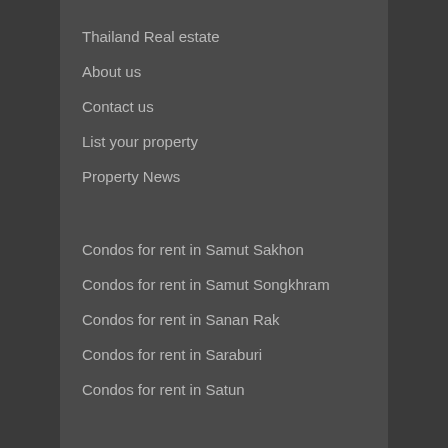Thailand Real estate
About us
Contact us
List your property
Property News
Condos for rent in Samut Sakhon
Condos for rent in Samut Songkhram
Condos for rent in Sanan Rak
Condos for rent in Saraburi
Condos for rent in Satun